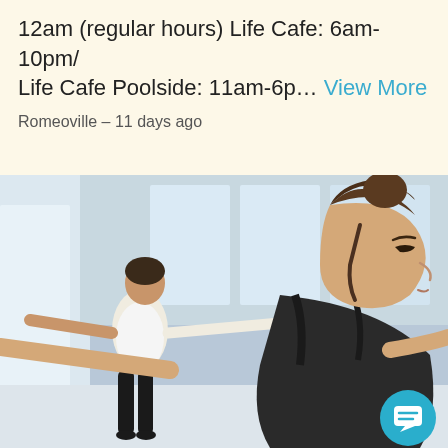12am (regular hours) Life Cafe: 6am-10pm/ Life Cafe Poolside: 11am-6p... View More
Romeoville – 11 days ago
[Figure (photo): Yoga class in a bright studio. Foreground: a young woman with hair in a bun wearing a black sports bra, arms outstretched to the sides in a warrior pose, viewed from slightly behind and to the side. Background: another woman in white tank top and black leggings standing with arms spread, and additional participants seated on the floor. A teal circular chat icon overlays the bottom right corner.]